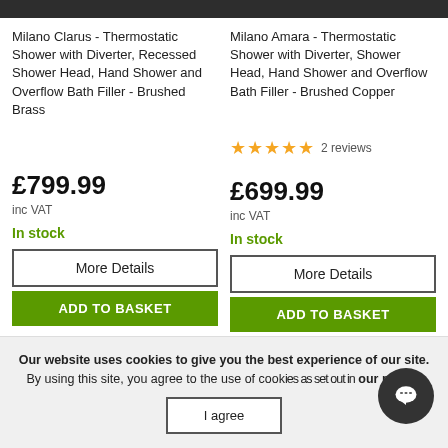Milano Clarus - Thermostatic Shower with Diverter, Recessed Shower Head, Hand Shower and Overflow Bath Filler - Brushed Brass
Milano Amara - Thermostatic Shower with Diverter, Shower Head, Hand Shower and Overflow Bath Filler - Brushed Copper
★★★★★ 2 reviews
£799.99
inc VAT
£699.99
inc VAT
In stock
In stock
More Details
ADD TO BASKET
More Details
ADD TO BASKET
Our website uses cookies to give you the best experience of our site. By using this site, you agree to the use of cookies as set out in our policy.
I agree